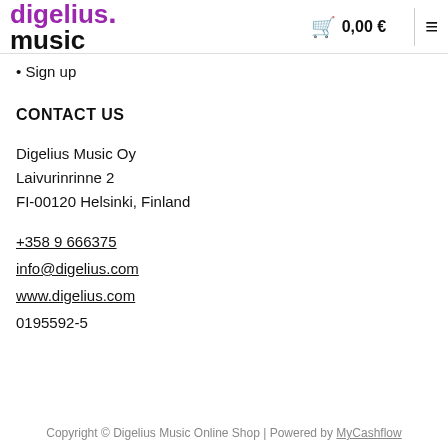digelius music | 0,00 €
• Sign up
CONTACT US
Digelius Music Oy
Laivurinrinne 2
FI-00120 Helsinki, Finland
+358 9 666375
info@digelius.com
www.digelius.com
0195592-5
Copyright © Digelius Music Online Shop | Powered by MyCashflow